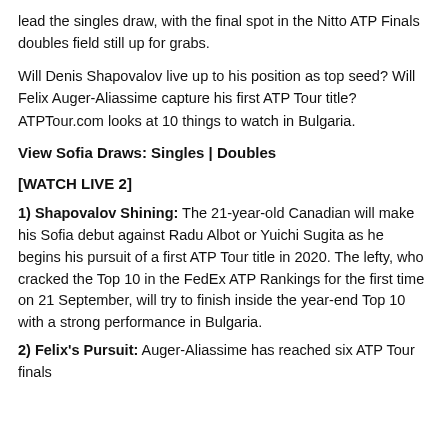lead the singles draw, with the final spot in the Nitto ATP Finals doubles field still up for grabs.
Will Denis Shapovalov live up to his position as top seed? Will Felix Auger-Aliassime capture his first ATP Tour title? ATPTour.com looks at 10 things to watch in Bulgaria.
View Sofia Draws: Singles | Doubles
[WATCH LIVE 2]
1) Shapovalov Shining: The 21-year-old Canadian will make his Sofia debut against Radu Albot or Yuichi Sugita as he begins his pursuit of a first ATP Tour title in 2020. The lefty, who cracked the Top 10 in the FedEx ATP Rankings for the first time on 21 September, will try to finish inside the year-end Top 10 with a strong performance in Bulgaria.
2) Felix's Pursuit: Auger-Aliassime has reached six ATP Tour finals